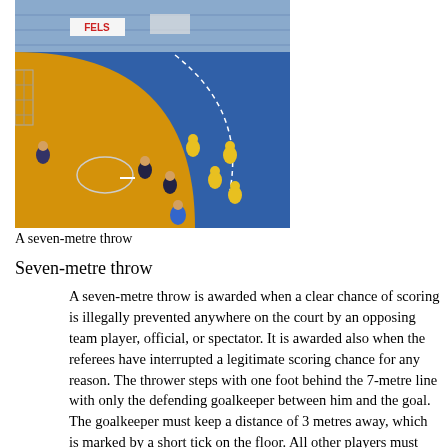[Figure (photo): A handball seven-metre throw in progress, showing players on a blue and yellow/orange court viewed from above, with spectators in the background. A 'FELS' banner is visible.]
A seven-metre throw
Seven-metre throw
A seven-metre throw is awarded when a clear chance of scoring is illegally prevented anywhere on the court by an opposing team player, official, or spectator. It is awarded also when the referees have interrupted a legitimate scoring chance for any reason. The thrower steps with one foot behind the 7-metre line with only the defending goalkeeper between him and the goal. The goalkeeper must keep a distance of 3 metres away, which is marked by a short tick on the floor. All other players must remain behind the free-throw line until execution and the defending court players must keep a distance of three metres. The thrower must await the whistle blow of the referee. A seven-metre throw is the equivalent to a penalty kick in association football;